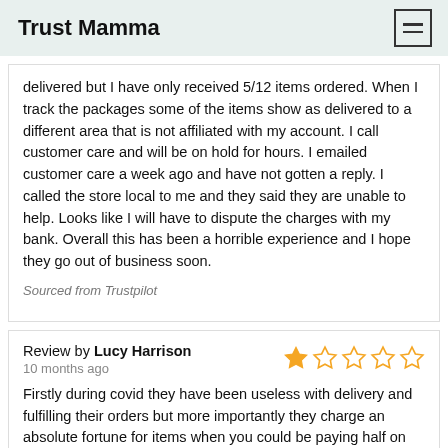Trust Mamma
delivered but I have only received 5/12 items ordered. When I track the packages some of the items show as delivered to a different area that is not affiliated with my account. I call customer care and will be on hold for hours. I emailed customer care a week ago and have not gotten a reply. I called the store local to me and they said they are unable to help. Looks like I will have to dispute the charges with my bank. Overall this has been a horrible experience and I hope they go out of business soon.
Sourced from Trustpilot
Review by Lucy Harrison
10 months ago
Firstly during covid they have been useless with delivery and fulfilling their orders but more importantly they charge an absolute fortune for items when you could be paying half on websites like beautykick.com or parfumdreams.com (for hair